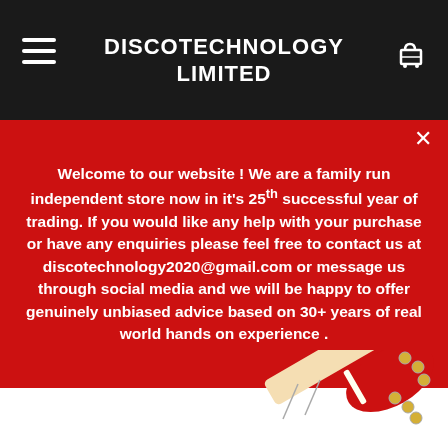DISCOTECHNOLOGY LIMITED
Welcome to our website ! We are a family run independent store now in it's 25th successful year of trading. If you would like any help with your purchase or have any enquiries please feel free to contact us at discotechnology2020@gmail.com or message us through social media and we will be happy to offer genuinely unbiased advice based on 30+ years of real world hands on experience .
[Figure (photo): Red electric guitar headstock visible in bottom right of page]